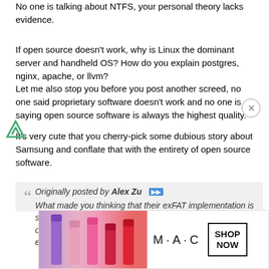No one is talking about NTFS, your personal theory lacks evidence.
If open source doesn't work, why is Linux the dominant server and handheld OS? How do you explain postgres, nginx, apache, or llvm?
Let me also stop you before you post another screed, no one said proprietary software doesn't work and no one is saying open source software is always the highest quality.
It's very cute that you cherry-pick some dubious story about Samsung and conflate that with the entirety of open source software.
Originally posted by Alex Zu
What made you thinking that their exFAT implementation is stable and is good for doing anything beyond a limited set of simple operations under a low load on a cell phone external memory ? I'd
[Figure (screenshot): Advertisement banner showing MAC cosmetics lipsticks with 'SHOP NOW' button]